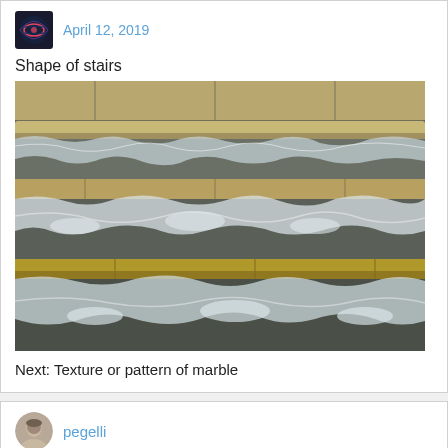April 12, 2019
Shape of stairs
[Figure (photo): Close-up photograph of stone stairs with water cascading over the edges, showing mossy stone steps with water flowing across multiple tiers]
Next: Texture or pattern of marble
pegelli